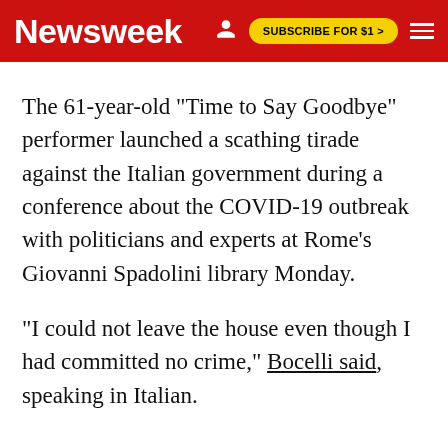Newsweek   SUBSCRIBE FOR $1 >
The 61-year-old "Time to Say Goodbye" performer launched a scathing tirade against the Italian government during a conference about the COVID-19 outbreak with politicians and experts at Rome's Giovanni Spadolini library Monday.
"I could not leave the house even though I had committed no crime," Bocelli said, speaking in Italian.